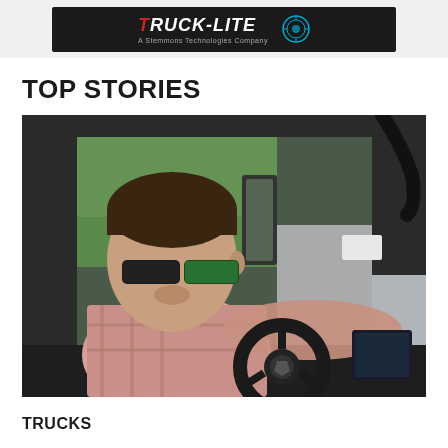[Figure (logo): Truck-Lite brand logo on dark background banner, with circular icon/emblem to the right and subtitle text beneath the logo name]
TOP STORIES
[Figure (photo): A man wearing sunglasses and a plaid shirt sitting in the cab of a truck, holding the steering wheel, viewed from the passenger side. Highway with trees visible through the windshield in the background.]
TRUCKS